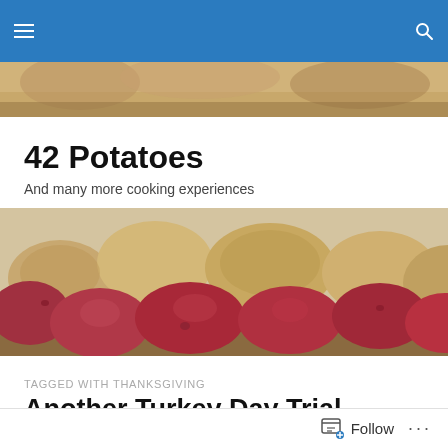Navigation bar with hamburger menu and search icon
[Figure (photo): Close-up photo strip of food/bread at top]
42 Potatoes
And many more cooking experiences
[Figure (photo): Photo of red and tan potatoes in a crate]
TAGGED WITH THANKSGIVING
Another Turkey Day Trial including Butter Broth
Follow ...